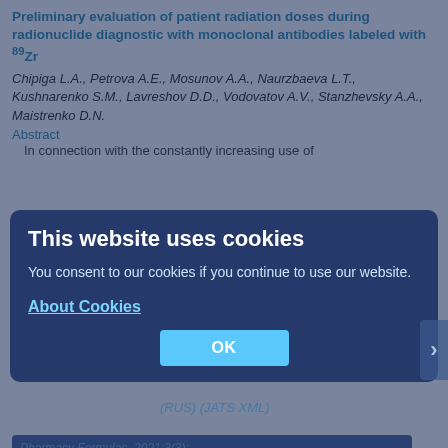Preliminary evaluation of patient radiation doses during radionuclide diagnostic with monoclonal antibodies labeled with 89Zr
Chipiga L.A., Petrova A.E., Mosunov A.A., Naurzbaeva L.T., Kushnarenko S.M., Lavreshov D.D., Vodovatov A.V., Stanzhevsky A.A., Maistrenko D.N.
Abstract
In connection with the constantly increasing use of monoclonal antibodies labeled with 89Zr, in clinical practice, it is urgent to study their pharmacokinetics
Pharmacy Formulas. 2021;3(3):48-61
48-61    557
(RUS) (JATS XML)
This website uses cookies
Show
You consent to our cookies if you continue to use our website.
About Cookies
OK
Development of professional standards in the area of medical and biological waste management for workers of 3-4 skill levels
Perelygin V.V., Sklyarova N.A., Vasiliev V.P., Zharikov M.V., Sklyarova L.V.
Abstract
Issues related to the updating of professional standards